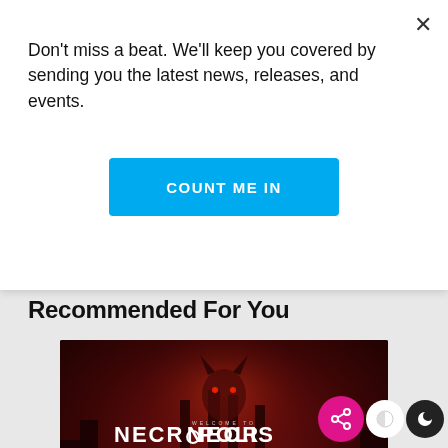Don't miss a beat. We'll keep you covered by sending you the latest news, releases, and events.
COUNT ME IN
Recommended For You
[Figure (photo): Festival poster for NECROPOLIS at Northerly Island, Chicago, October 29-30. Dark red background with demonic figure. Lineup includes: 1991 b2b Culture Shock, Alison Wonderland, Adventure Club, ARMNHMR, Blanke, Dimension, Diesel b2b Shaq, Excision, Getter, Gramatik, Fairlane, Joyryde, Kayzo, Layz, Lucii, Reaper, [censored], Wreckno. Plus more TBA. Exclusive Necropolis Afterparty with Excision.]